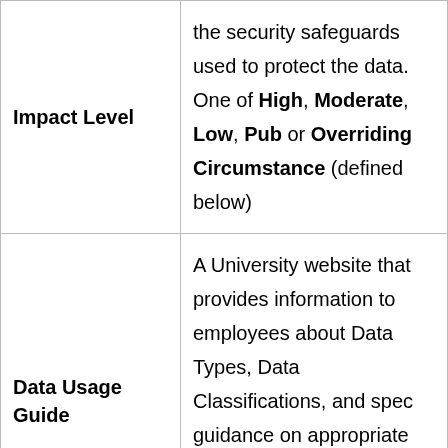| Impact Level | the security safeguards used to protect the data. One of High, Moderate, Low, Public or Overriding Circumstance (defined below) |
| Data Usage Guide | A University website that provides information to employees about Data Types, Data Classifications, and specific guidance on appropriate use, storage and transmission services and other handling obligations. |
|  | A set of data records collated |